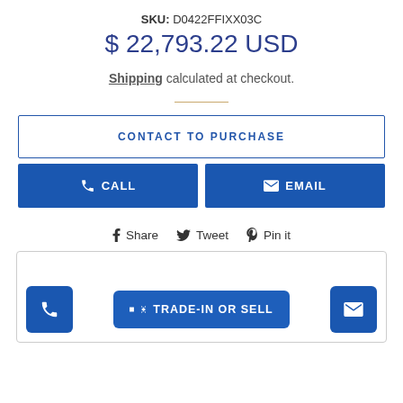SKU: D0422FFIXX03C
$ 22,793.22 USD
Shipping calculated at checkout.
CONTACT TO PURCHASE
CALL
EMAIL
Share  Tweet  Pin it
TRADE-IN OR SELL